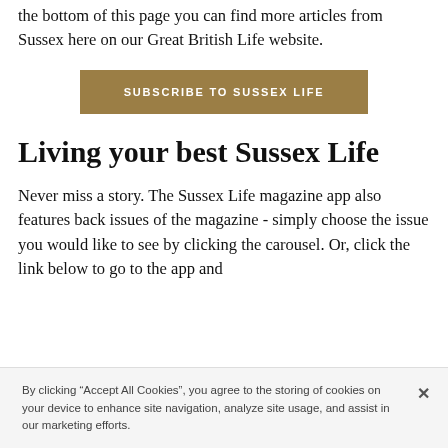the bottom of this page you can find more articles from Sussex here on our Great British Life website.
SUBSCRIBE TO SUSSEX LIFE
Living your best Sussex Life
Never miss a story. The Sussex Life magazine app also features back issues of the magazine - simply choose the issue you would like to see by clicking the carousel. Or, click the link below to go to the app and
By clicking “Accept All Cookies”, you agree to the storing of cookies on your device to enhance site navigation, analyze site usage, and assist in our marketing efforts.